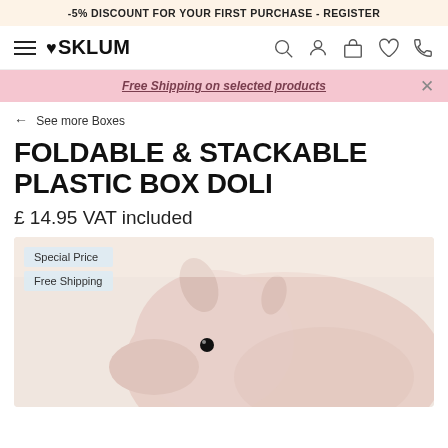-5% DISCOUNT FOR YOUR FIRST PURCHASE - REGISTER
[Figure (logo): SKLUM brand logo with heart icon and hamburger menu, plus navigation icons for search, account, cart, wishlist, phone]
Free Shipping on selected products
← See more Boxes
FOLDABLE & STACKABLE PLASTIC BOX DOLI
£ 14.95 VAT included
[Figure (photo): Pink stuffed dolphin toy (plush) on a light beige background, with 'Special Price' and 'Free Shipping' badges overlaid on the top-left corner]